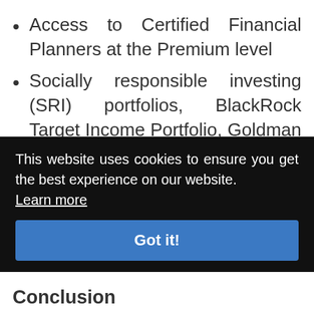Access to Certified Financial Planners at the Premium level
Socially responsible investing (SRI) portfolios, BlackRock Target Income Portfolio, Goldman Sachs Smart Beta Portfolio
Charitable giving option that allows [partially obscured] ndly
[partially obscured] gher
This website uses cookies to ensure you get the best experience on our website. Learn more
Conclusion